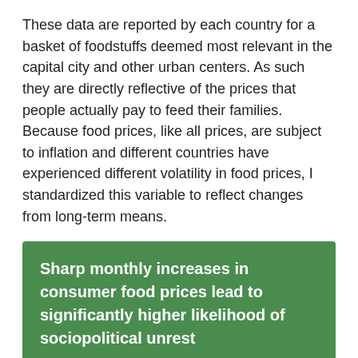These data are reported by each country for a basket of foodstuffs deemed most relevant in the capital city and other urban centers. As such they are directly reflective of the prices that people actually pay to feed their families. Because food prices, like all prices, are subject to inflation and different countries have experienced different volatility in food prices, I standardized this variable to reflect changes from long-term means.
Sharp monthly increases in consumer food prices lead to significantly higher likelihood of sociopolitical unrest
Like Marc Bellemare in his work, I used an instrumental variable approach, a statistical technique that uses a third variable, an instrument, to model changes in the causal variable. This instrument must affect the outcome